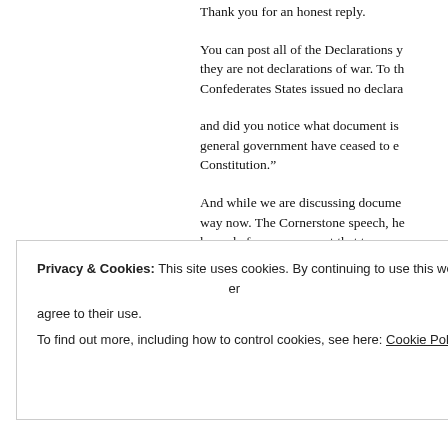Thank you for an honest reply.
You can post all of the Declarations y... they are not declarations of war. To th... Confederates States issued no declara...
and did you notice what document is ... general government have ceased to ef... Constitution.”
And while we are discussing docume... way now. The Cornerstone speech, he... know before you present that to me.
Privacy & Cookies: This site uses cookies. By continuing to use this website, you agree to their use.
To find out more, including how to control cookies, see here: Cookie Policy
Close and accept